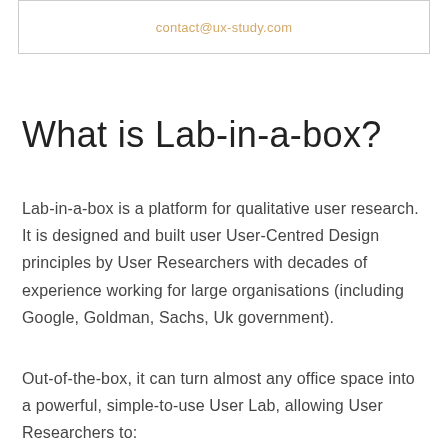contact@ux-study.com
What is Lab-in-a-box?
Lab-in-a-box is a platform for qualitative user research. It is designed and built user User-Centred Design principles by User Researchers with decades of experience working for large organisations (including Google, Goldman, Sachs, Uk government).
Out-of-the-box, it can turn almost any office space into a powerful, simple-to-use User Lab, allowing User Researchers to: